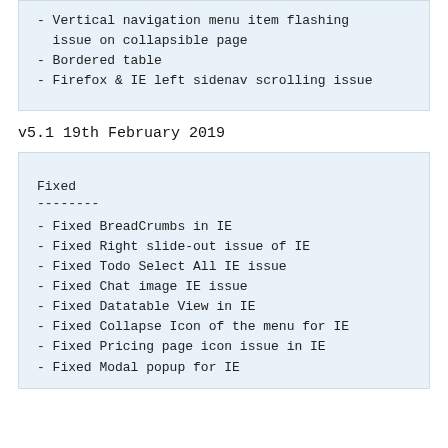- Vertical navigation menu item flashing issue on collapsible page
- Bordered table
- Firefox & IE left sidenav scrolling issue
v5.1 19th February 2019
Fixed
--------
- Fixed BreadCrumbs in IE
- Fixed Right slide-out issue of IE
- Fixed Todo Select All IE issue
- Fixed Chat image IE issue
- Fixed Datatable View in IE
- Fixed Collapse Icon of the menu for IE
- Fixed Pricing page icon issue in IE
- Fixed Modal popup for IE